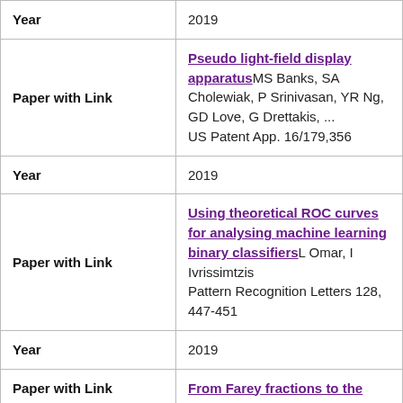| Field | Value |
| --- | --- |
| Year | 2019 |
| Paper with Link | Pseudo light-field display apparatus MS Banks, SA Cholewiak, P Srinivasan, YR Ng, GD Love, G Drettakis, ... US Patent App. 16/179,356 |
| Year | 2019 |
| Paper with Link | Using theoretical ROC curves for analysing machine learning binary classifiers L Omar, I Ivrissimtzis Pattern Recognition Letters 128, 447-451 |
| Year | 2019 |
| Paper with Link | From Farey fractions to the |